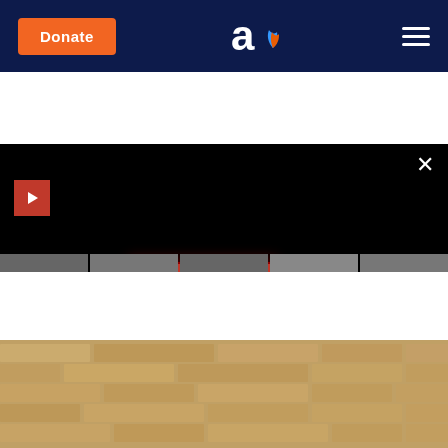Donate | [Aish logo] | Menu
[Figure (screenshot): Black banner area with play button (red arrow) on left and READ MORE red button centered, close X top right]
[Figure (photo): Western Wall (Kotel) stone background image with bold text overlay reading: Get Help from Above before Rosh Hashanah!]